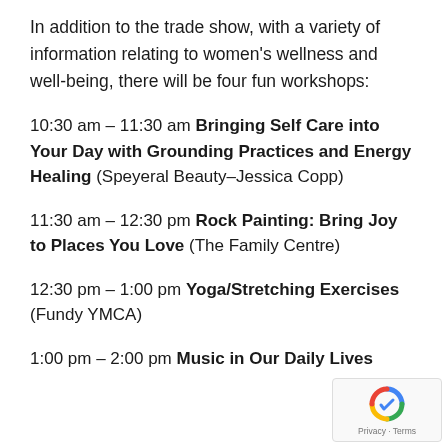In addition to the trade show, with a variety of information relating to women's wellness and well-being, there will be four fun workshops:
10:30 am – 11:30 am Bringing Self Care into Your Day with Grounding Practices and Energy Healing (Speyeral Beauty–Jessica Copp)
11:30 am – 12:30 pm Rock Painting: Bring Joy to Places You Love (The Family Centre)
12:30 pm – 1:00 pm Yoga/Stretching Exercises (Fundy YMCA)
1:00 pm – 2:00 pm Music in Our Daily Lives